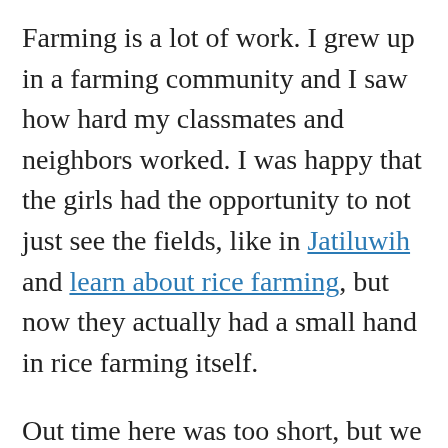Farming is a lot of work.  I grew up in a farming community and I saw how hard my classmates and neighbors worked.  I was happy that the girls had the opportunity to not just see the fields, like in Jatiluwih and learn about rice farming, but now they actually had a small hand in rice farming itself.
Out time here was too short, but we had to make the night train from Lao Cai to Hanoi.  Cho Cho walked us back through the rice fields into Ta Van where her other son drove us back to Sa Pa for the long bus ride back to Lao Cai.  The